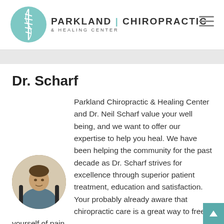[Figure (logo): Parkland Chiropractic & Healing Center logo with teal circular spine graphic and text]
Dr. Scharf
[Figure (photo): Circular portrait photo of Dr. Neil Scharf seated at a desk]
Parkland Chiropractic & Healing Center and Dr. Neil Scharf value your well being, and we want to offer our expertise to help you heal. We have been helping the community for the past decade as Dr. Scharf strives for excellence through superior patient treatment, education and satisfaction. Your probably already aware that chiropractic care is a great way to free yourself of pain.